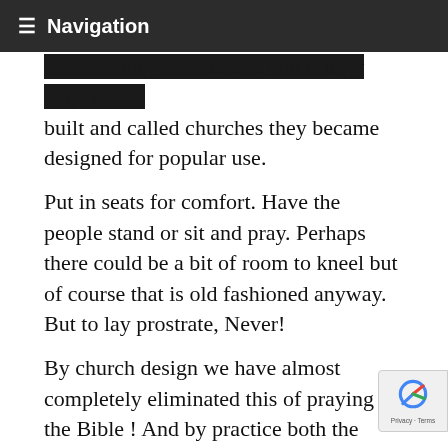Navigation
worshipping architecture and liturgy began to be built and called churches they became designed for popular use.
Put in seats for comfort. Have the people stand or sit and pray. Perhaps there could be a bit of room to kneel but of course that is old fashioned anyway. But to lay prostrate, Never!
By church design we have almost completely eliminated this of praying in the Bible ! And by practice both the people and many ministers are ignorant of what has happened.
Fifth, it is simply dismissed. “Oh, it doesn’t matter what position your body is in, what matters is the heart.” True in part. But that is not the end of the subject. The